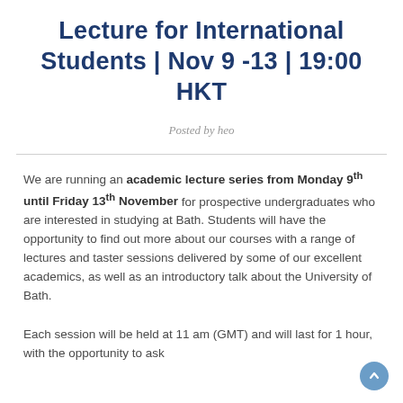Lecture for International Students | Nov 9 -13 | 19:00 HKT
Posted by heo
We are running an academic lecture series from Monday 9th until Friday 13th November for prospective undergraduates who are interested in studying at Bath. Students will have the opportunity to find out more about our courses with a range of lectures and taster sessions delivered by some of our excellent academics, as well as an introductory talk about the University of Bath.
Each session will be held at 11 am (GMT) and will last for 1 hour, with the opportunity to ask